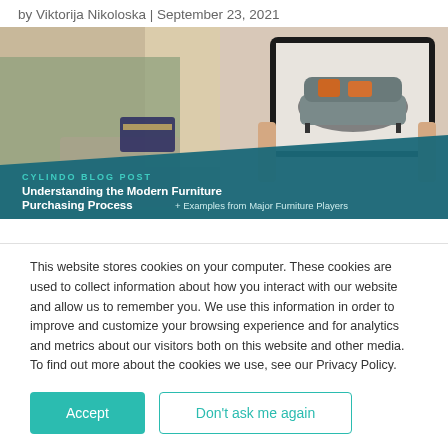by Viktorija Nikoloska | September 23, 2021
[Figure (photo): Hero image showing a person at a laptop with a credit card on the left, and hands holding a tablet displaying a grey sofa with orange cushions on the right. A dark teal diagonal banner overlay at the bottom reads 'CYLINDO BLOG POST' and 'Understanding the Modern Furniture Purchasing Process + Examples from Major Furniture Players']
This website stores cookies on your computer. These cookies are used to collect information about how you interact with our website and allow us to remember you. We use this information in order to improve and customize your browsing experience and for analytics and metrics about our visitors both on this website and other media. To find out more about the cookies we use, see our Privacy Policy.
Accept
Don't ask me again